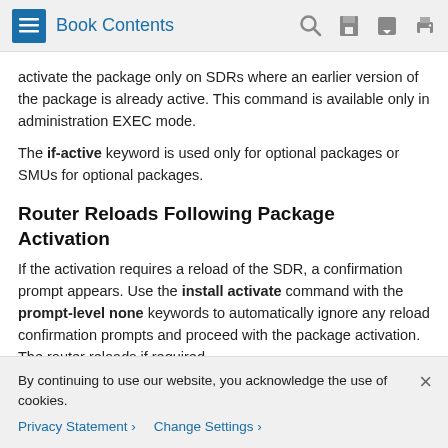Book Contents
activate the package only on SDRs where an earlier version of the package is already active. This command is available only in administration EXEC mode.

The if-active keyword is used only for optional packages or SMUs for optional packages.
Router Reloads Following Package Activation
If the activation requires a reload of the SDR, a confirmation prompt appears. Use the install activate command with the prompt-level none keywords to automatically ignore any reload confirmation prompts and proceed with the package activation. The router reloads if required.
Node Reloads Following Package Activation
By continuing to use our website, you acknowledge the use of cookies.
Privacy Statement > Change Settings >